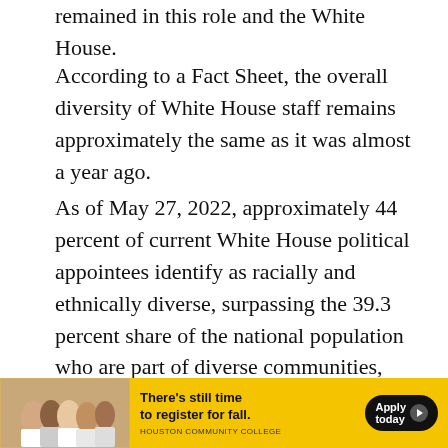remained in this role and the White House.
According to a Fact Sheet, the overall diversity of White House staff remains approximately the same as it was almost a year ago.
As of May 27, 2022, approximately 44 percent of current White House political appointees identify as racially and ethnically diverse, surpassing the 39.3 percent share of the national population who are part of diverse communities, according to the 2019 U.S. Census data.
Of the White House’s senior staff, approximately
[Figure (photo): Advertisement banner for Houston Community College showing group of smiling students with text 'There's still time to register for fall. Apply today. HOUSTON COMMUNITY COLLEGE']